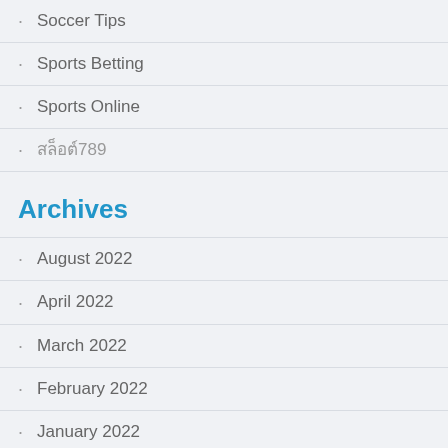Soccer Tips
Sports Betting
Sports Online
สล็อต789
Archives
August 2022
April 2022
March 2022
February 2022
January 2022
December 2021